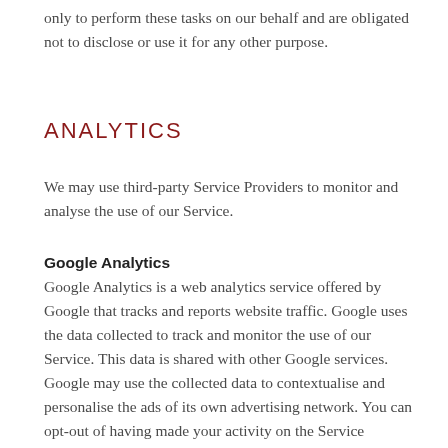only to perform these tasks on our behalf and are obligated not to disclose or use it for any other purpose.
ANALYTICS
We may use third-party Service Providers to monitor and analyse the use of our Service.
Google Analytics
Google Analytics is a web analytics service offered by Google that tracks and reports website traffic. Google uses the data collected to track and monitor the use of our Service. This data is shared with other Google services. Google may use the collected data to contextualise and personalise the ads of its own advertising network. You can opt-out of having made your activity on the Service available to Google Analytics by installing the Google Analytics opt-out